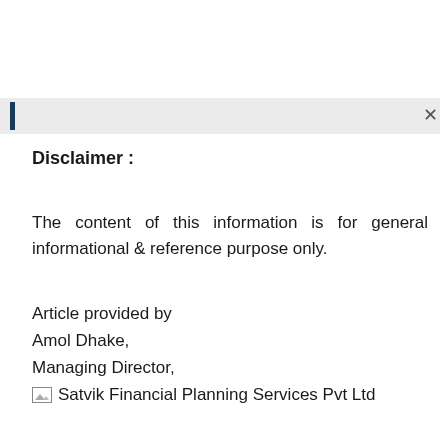Disclaimer :
The content of this information is for general informational & reference purpose only.
Article provided by
Amol Dhake,
Managing Director,
[Figure (logo): Broken image placeholder followed by text: Satvik Financial Planning Services Pvt Ltd]